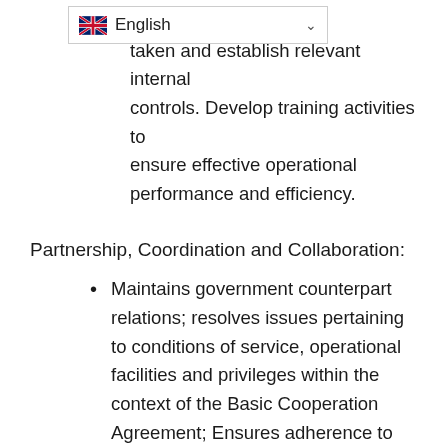ective measures to be taken and establish relevant internal controls. Develop training activities to ensure effective operational performance and efficiency.
Partnership, Coordination and Collaboration:
Maintains government counterpart relations; resolves issues pertaining to conditions of service, operational facilities and privileges within the context of the Basic Cooperation Agreement; Ensures adherence to financial regulations and rules pertaining to Direct Cash Transfer to Government (DCT).
Cooperates and coordinates with other